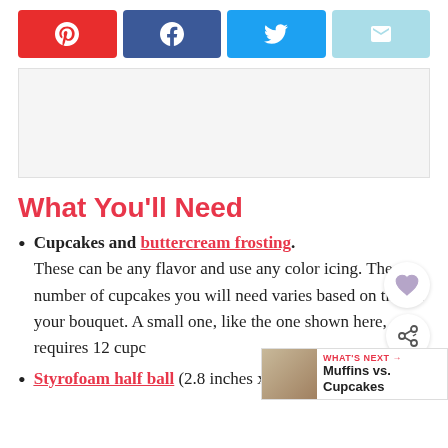[Figure (infographic): Social sharing buttons: Pinterest (red), Facebook (dark blue), Twitter (light blue), Email (light cyan)]
[Figure (other): Advertisement placeholder box, light gray background]
What You'll Need
Cupcakes and buttercream frosting. These can be any flavor and use any color icing. The number of cupcakes you will need varies based on the siz your bouquet. A small one, like the one shown here, requires 12 cupc
Styrofoam half ball (2.8 inches x 5.7